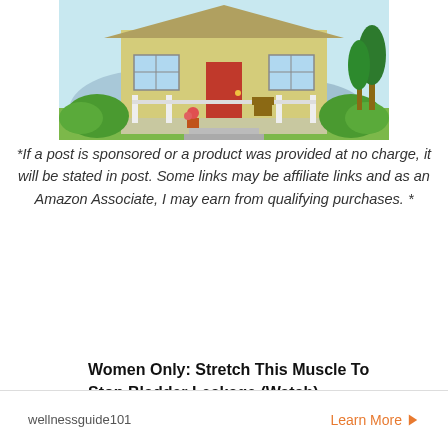[Figure (illustration): Illustration of a house/home with a red door, white porch railings, yellow siding, green bushes, trees, and a rocking chair on the porch]
*If a post is sponsored or a product was provided at no charge, it will be stated in post. Some links may be affiliate links and as an Amazon Associate, I may earn from qualifying purchases. *
Women Only: Stretch This Muscle To Stop Bladder Leakage (Watch)
wellnessguide101   Learn More >